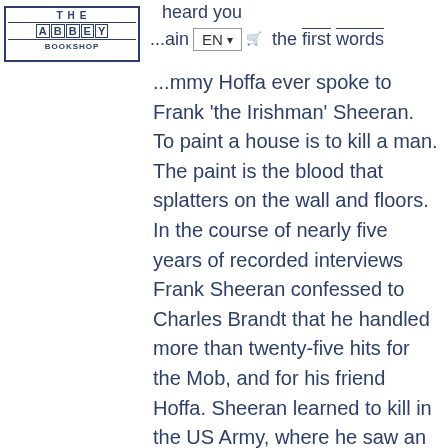THE ABBEY BOOKSHOP
heard you
...ain EN the first words Jimmy Hoffa ever spoke to Frank 'the Irishman' Sheeran. To paint a house is to kill a man. The paint is the blood that splatters on the wall and floors. In the course of nearly five years of recorded interviews Frank Sheeran confessed to Charles Brandt that he handled more than twenty-five hits for the Mob, and for his friend Hoffa. Sheeran learned to kill in the US Army, where he saw an astonishing 411 days of active combat during